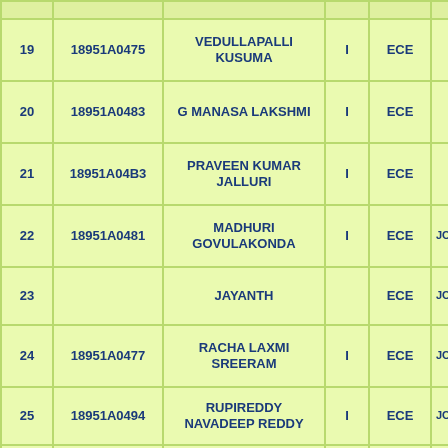| S.No | Roll No | Name | Year | Branch | ... |
| --- | --- | --- | --- | --- | --- |
| 19 | 18951A0475 | VEDULLAPALLI KUSUMA | I | ECE |  |
| 20 | 18951A0483 | G MANASA LAKSHMI | I | ECE |  |
| 21 | 18951A04B3 | PRAVEEN KUMAR JALLURI | I | ECE |  |
| 22 | 18951A0481 | MADHURI GOVULAKONDA | I | ECE | JO |
| 23 |  | JAYANTH |  | ECE | JO |
| 24 | 18951A0477 | RACHA LAXMI SREERAM | I | ECE | JO |
| 25 | 18951A0494 | RUPIREDDY NAVADEEP REDDY | I | ECE | JO |
| 26 | 18951A0492 | RACHAMALLU NANDAN SIVA SAINATH REDDY | I | ECE | JO |